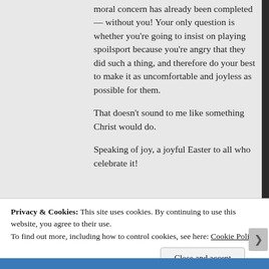moral concern has already been completed — without you! Your only question is whether you're going to insist on playing spoilsport because you're angry that they did such a thing, and therefore do your best to make it as uncomfortable and joyless as possible for them.

That doesn't sound to me like something Christ would do.

Speaking of joy, a joyful Easter to all who celebrate it!
Privacy & Cookies: This site uses cookies. By continuing to use this website, you agree to their use.
To find out more, including how to control cookies, see here: Cookie Policy